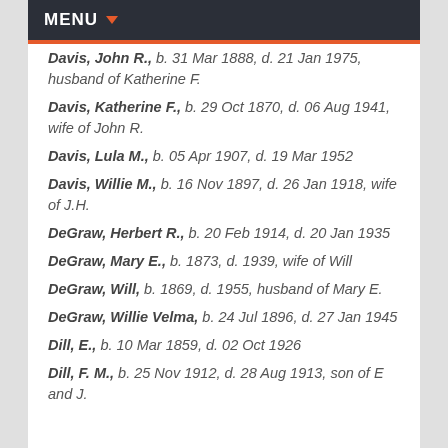MENU
Davis, John R., b. 31 Mar 1888, d. 21 Jan 1975, husband of Katherine F.
Davis, Katherine F., b. 29 Oct 1870, d. 06 Aug 1941, wife of John R.
Davis, Lula M., b. 05 Apr 1907, d. 19 Mar 1952
Davis, Willie M., b. 16 Nov 1897, d. 26 Jan 1918, wife of J.H.
DeGraw, Herbert R., b. 20 Feb 1914, d. 20 Jan 1935
DeGraw, Mary E., b. 1873, d. 1939, wife of Will
DeGraw, Will, b. 1869, d. 1955, husband of Mary E.
DeGraw, Willie Velma, b. 24 Jul 1896, d. 27 Jan 1945
Dill, E., b. 10 Mar 1859, d. 02 Oct 1926
Dill, F. M., b. 25 Nov 1912, d. 28 Aug 1913, son of E and J.